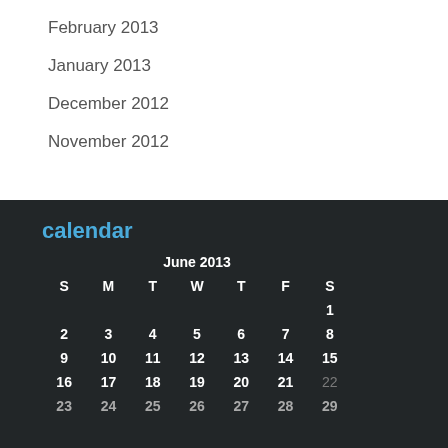February 2013
January 2013
December 2012
November 2012
calendar
| S | M | T | W | T | F | S |
| --- | --- | --- | --- | --- | --- | --- |
|  |  |  |  |  |  | 1 |
| 2 | 3 | 4 | 5 | 6 | 7 | 8 |
| 9 | 10 | 11 | 12 | 13 | 14 | 15 |
| 16 | 17 | 18 | 19 | 20 | 21 | 22 |
| 23 | 24 | 25 | 26 | 27 | 28 | 29 |